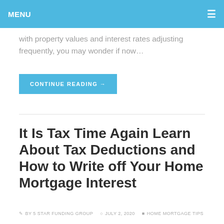MENU ≡
with property values and interest rates adjusting frequently, you may wonder if now…
CONTINUE READING →
It Is Tax Time Again Learn About Tax Deductions and How to Write off Your Home Mortgage Interest
BY 5 STAR FUNDING GROUP  JULY 2, 2020  HOME MORTGAGE TIPS